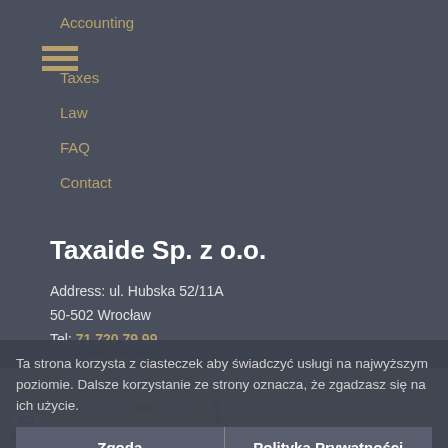Accounting
Taxes
Law
FAQ
Contact
Taxaide Sp. z o.o.
Address: ul. Hubska 52/11A
50-502 Wrocław
Tel: 71 720 79 99
or 71 712 79 99
E-mail: i.marszalkowska@taxaide.pl
i.winnicki@taxaide.pl
Ta strona korzysta z ciasteczek aby świadczyć usługi na najwyższym poziomie. Dalsze korzystanie ze strony oznacza, że zgadzasz się na ich użycie.
Zgoda
Polityka Prywatności
[Figure (map): Street map showing Wrocław area with road markers 372 and 395, Galója street, and Powiatowy Urząd Pracy label visible]